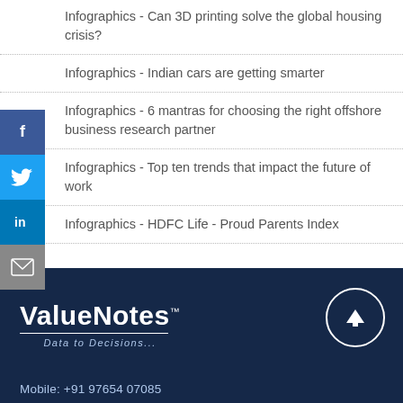Infographics - Can 3D printing solve the global housing crisis?
Infographics - Indian cars are getting smarter
Infographics - 6 mantras for choosing the right offshore business research partner
Infographics - Top ten trends that impact the future of work
Infographics - HDFC Life - Proud Parents Index
[Figure (logo): ValueNotes logo with tagline 'Data to Decisions...' on dark navy background]
Mobile: +91 97654 07085